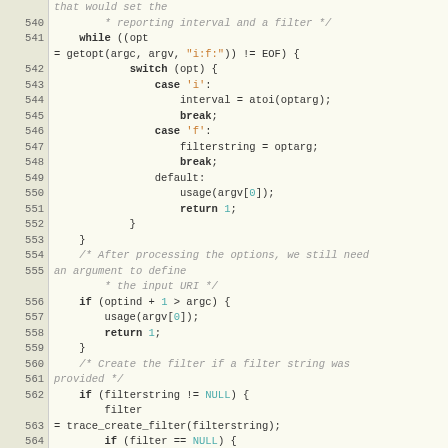[Figure (screenshot): Source code viewer showing C code lines 540-566 with line numbers in left gutter. Code demonstrates option parsing with getopt, switch/case for 'i' and 'f' options, and filter creation logic.]